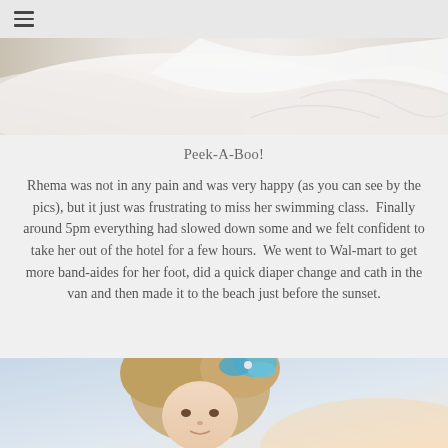☰
[Figure (photo): Top portion of image showing white bedding/sheets in a muted gray-toned photo]
Peek-A-Boo!
Rhema was not in any pain and was very happy (as you can see by the pics), but it just was frustrating to miss her swimming class.  Finally around 5pm everything had slowed down some and we felt confident to take her out of the hotel for a few hours.  We went to Wal-mart to get more band-aides for her foot, did a quick diaper change and cath in the van and then made it to the beach just before the sunset.
[Figure (photo): Young blonde girl with a blue flower hair bow in her hair, photographed outdoors with a light sky background]